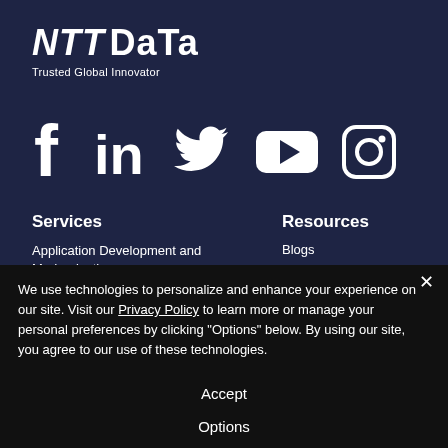[Figure (logo): NTT DATA logo with tagline 'Trusted Global Innovator' on dark navy background]
[Figure (infographic): Social media icons: Facebook, LinkedIn, Twitter, YouTube, Instagram in white on dark navy background]
Services
Resources
Application Development and Modernization
Blogs
We use technologies to personalize and enhance your experience on our site. Visit our Privacy Policy to learn more or manage your personal preferences by clicking "Options" below. By using our site, you agree to our use of these technologies.
Accept
Options